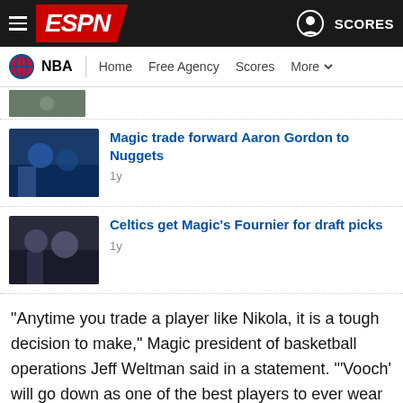ESPN NBA Navigation Header
[Figure (screenshot): Partial thumbnail of a basketball news article at top]
Magic trade forward Aaron Gordon to Nuggets
1y
Celtics get Magic's Fournier for draft picks
1y
"Anytime you trade a player like Nikola, it is a tough decision to make," Magic president of basketball operations Jeff Weltman said in a statement. "'Vooch' will go down as one of the best players to ever wear a Magic uniform and we can't thank him enough for all the contributions he made to the